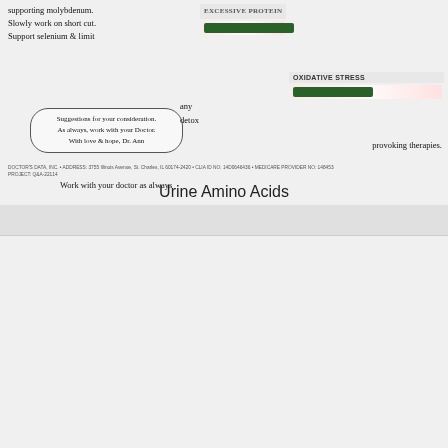[Figure (photo): Handwritten medical notes on a lab report page with bar charts for EXCESSIVE PROTEIN and OXIDATIVE STRESS, and a circled note 'Suggestions for your consideration. As always, work with your Doctor. With love & hope, Dr. Ann']
supporting molybdenum. Slowly work on short cut. Support selenium & limit any detox provoking therapies.
Work with your doctor as always
DOCTOR'S DATA, INC. • ADDRESS: 3755 Illinois Avenue, St. Charles, IL 60174-2420 • CLIA ID NO: 14D0646436 • MEDICARE PROVIDER NO: 148453
PROJECT: Q&A-22114
Urine Amino Acids
[Figure (logo): Doctor's Data (DD) logo with atomic/molecule graphic]
Essential Elements; Urine
|  |  | RESULT/UNIT per creatinine | REFERENCE INTERVAL | PERCENTILE 2.5th 16th 50th 84th 97.5th |
| --- | --- | --- | --- | --- |
| Sodium | (Na) | 200 | mEq/g | 45 - 200 |  |
| Potassium | (K) | 200 | mEq/g | 30 - 110 |  |
| Phosphorus | (P) | 3330 | µg/mg | 100 - 1100 |  |
| Calcium | (Ca) | 210 | µg/mg | 30 - 350 |  |
| Magnesium | (Mg) | 29 | µg/mg | 25 - 230 | Mag Citr |
| Zinc | (Zn) | 0.76 | µg/mg | 0.1 - 1.5 |  |
| Copper | (Cu) | 0.023 | µg/mg | 0.007 - 0.06 |  |
| ... | ... | 3150 | ... | 295 - 1000 |  |